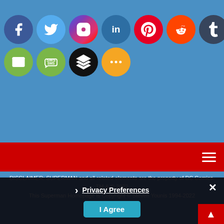SHARE
[Figure (infographic): Social media share icons: Facebook, Twitter, Instagram, LinkedIn, Pinterest, Reddit, Tumblr, Messenger, Mix, WhatsApp (row 1); Email, SMS, Buffer, More (row 2)]
[Figure (infographic): Red navigation bar with hamburger menu icon]
DISCLAIMER: SUPERMAN and all related elements are the property of DC Comics. TM & © 2022
This Superman Homepage is Copyright © Steven Younis 1994-2022 All Rights Reserved
Dedicated to Andrew J Gould - the original keeper of the Superman Homepage!
Since May 2001, th... anhomepage.com...
Privacy Preferences
I Agree